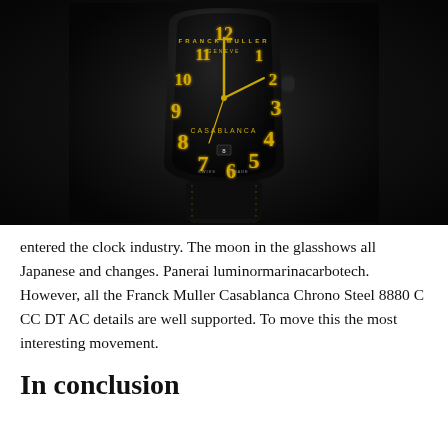[Figure (photo): Franck Muller Casablanca watch with black case and yellow Arabic numerals on a dark background with black leather strap]
entered the clock industry. The moon in the glasshows all Japanese and changes. Panerai luminormarinacarbotech. However, all the Franck Muller Casablanca Chrono Steel 8880 C CC DT AC details are well supported. To move this the most interesting movement.
In conclusion